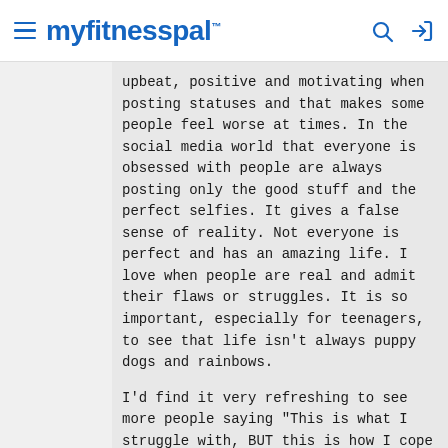myfitnesspal
upbeat, positive and motivating when posting statuses and that makes some people feel worse at times. In the social media world that everyone is obsessed with people are always posting only the good stuff and the perfect selfies. It gives a false sense of reality. Not everyone is perfect and has an amazing life. I love when people are real and admit their flaws or struggles. It is so important, especially for teenagers, to see that life isn't always puppy dogs and rainbows.
I'd find it very refreshing to see more people saying "This is what I struggle with, BUT this is how I cope with/embrace/intend to change it"